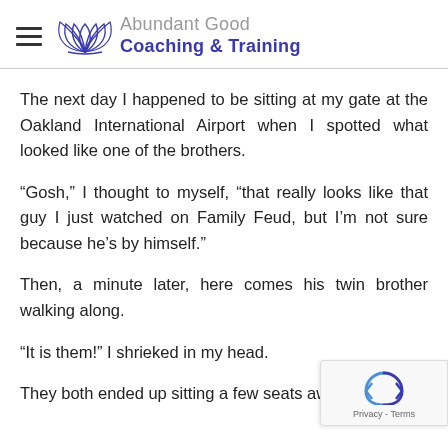Abundant Good Coaching & Training
The next day I happened to be sitting at my gate at the Oakland International Airport when I spotted what looked like one of the brothers.
“Gosh,” I thought to myself, “that really looks like that guy I just watched on Family Feud, but I’m not sure because he’s by himself.”
Then, a minute later, here comes his twin brother walking along.
“It is them!” I shrieked in my head.
They both ended up sitting a few seats away from me.